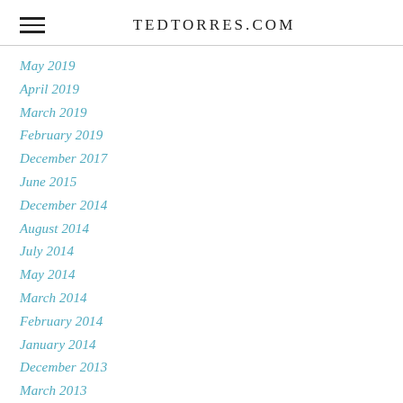TEDTORRES.COM
May 2019
April 2019
March 2019
February 2019
December 2017
June 2015
December 2014
August 2014
July 2014
May 2014
March 2014
February 2014
January 2014
December 2013
March 2013
February 2013
December 2012